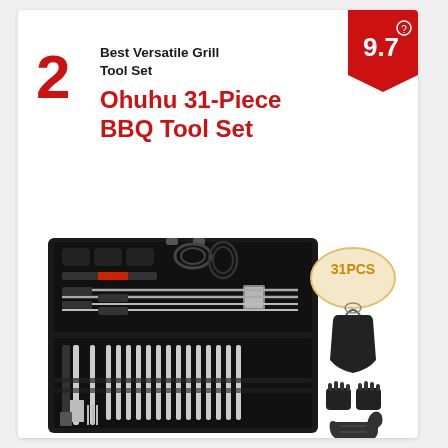2
Best Versatile Grill Tool Set
Ohuhu 31-Piece BBQ Tool Set
[Figure (photo): Ohuhu 31-piece BBQ tool set in open black aluminum case showing skewers, tongs, spatula and other grilling tools, with inset icons showing 31PCS badge, black apron, bear claw meat handlers, and oven mitt]
9.7